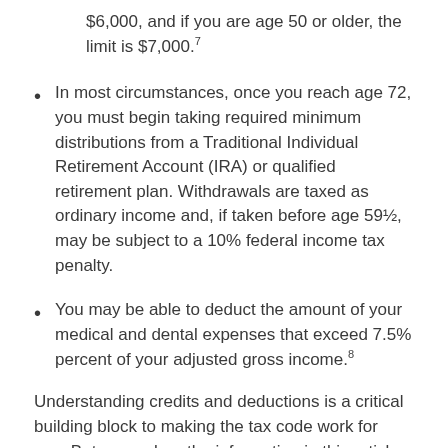$6,000, and if you are age 50 or older, the limit is $7,000.7
In most circumstances, once you reach age 72, you must begin taking required minimum distributions from a Traditional Individual Retirement Account (IRA) or qualified retirement plan. Withdrawals are taxed as ordinary income and, if taken before age 59½, may be subject to a 10% federal income tax penalty.
You may be able to deduct the amount of your medical and dental expenses that exceed 7.5% percent of your adjusted gross income.8
Understanding credits and deductions is a critical building block to making the tax code work for you. But remember, the information in this article is not intended as tax or legal advice. And it may not be used for the purpose of avoiding any federal tax penalties.